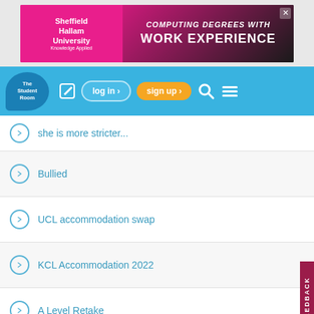[Figure (screenshot): Sheffield Hallam University advertisement banner: Computing Degrees With Work Experience]
The Student Room — navigation bar with log in, sign up, search and menu
she is more stricter...
Bullied
UCL accommodation swap
KCL Accommodation 2022
A Level Retake
Modules to take - CS final year
The Russell Group hurt/heal game (Part 5)
When to revise